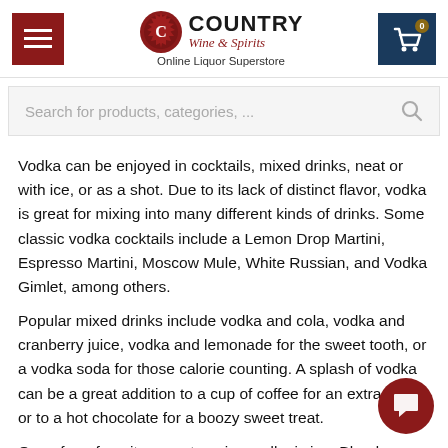Country Wine & Spirits — Online Liquor Superstore
Vodka can be enjoyed in cocktails, mixed drinks, neat or with ice, or as a shot. Due to its lack of distinct flavor, vodka is great for mixing into many different kinds of drinks. Some classic vodka cocktails include a Lemon Drop Martini, Espresso Martini, Moscow Mule, White Russian, and Vodka Gimlet, among others.
Popular mixed drinks include vodka and cola, vodka and cranberry juice, vodka and lemonade for the sweet tooth, or a vodka soda for those calorie counting. A splash of vodka can be a great addition to a cup of coffee for an extra kick, or to a hot chocolate for a boozy sweet treat.
One of our favorite ways to enjoy vodka is in a Bloody